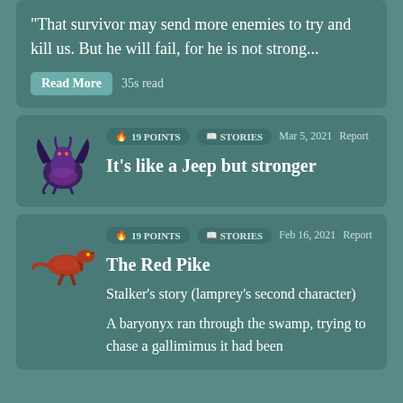“That survivor may send more enemies to try and kill us. But he will fail, for he is not strong...
Read More   35s read
19 POINTS   STORIES   Mar 5, 2021   Report
It’s like a Jeep but stronger
19 POINTS   STORIES   Feb 16, 2021   Report
The Red Pike
Stalker’s story (lamprey’s second character)
A baryonyx ran through the swamp, trying to chase a gallimimus it had been